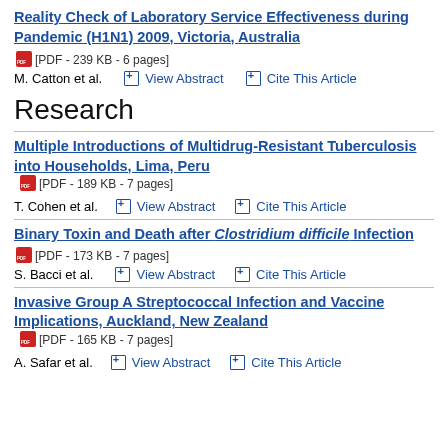Reality Check of Laboratory Service Effectiveness during Pandemic (H1N1) 2009, Victoria, Australia
[PDF - 239 KB - 6 pages]
M. Catton et al.  View Abstract  Cite This Article
Research
Multiple Introductions of Multidrug-Resistant Tuberculosis into Households, Lima, Peru  [PDF - 189 KB - 7 pages]
T. Cohen et al.  View Abstract  Cite This Article
Binary Toxin and Death after Clostridium difficile Infection
[PDF - 173 KB - 7 pages]
S. Bacci et al.  View Abstract  Cite This Article
Invasive Group A Streptococcal Infection and Vaccine Implications, Auckland, New Zealand  [PDF - 165 KB - 7 pages]
A. Safar et al.  View Abstract  Cite This Article